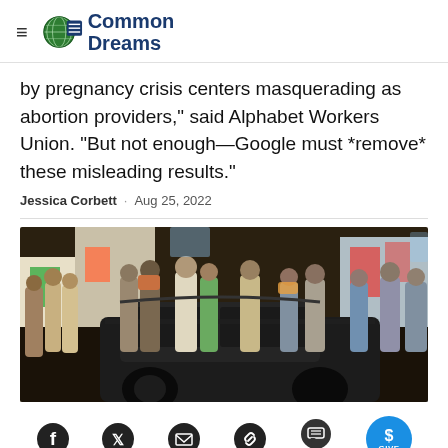Common Dreams
by pregnancy crisis centers masquerading as abortion providers," said Alphabet Workers Union. "But not enough—Google must *remove* these misleading results."
Jessica Corbett · Aug 25, 2022
[Figure (photo): Group of men gathered around a burned-out vehicle in what appears to be a Middle Eastern or South Asian setting, with colorful building facades in the background.]
Social sharing icons: Facebook, Twitter, Email, Link, Comments (2), Give